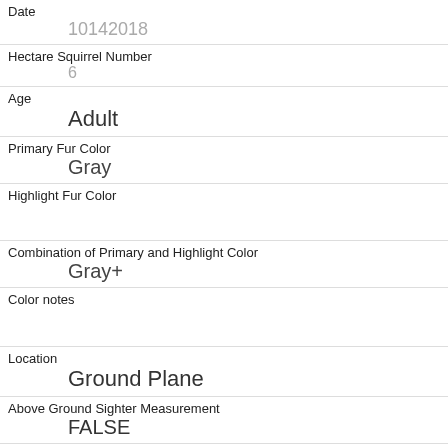| Date | 10142018 |
| Hectare Squirrel Number | 6 |
| Age | Adult |
| Primary Fur Color | Gray |
| Highlight Fur Color |  |
| Combination of Primary and Highlight Color | Gray+ |
| Color notes |  |
| Location | Ground Plane |
| Above Ground Sighter Measurement | FALSE |
| Specific Location |  |
| Running |  |